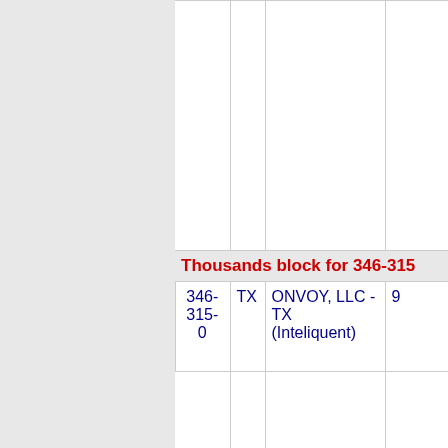| Number | State | Carrier | Extra |
| --- | --- | --- | --- |
| 346-315-0 | TX | ONVOY, LLC - TX (Inteliquent) | 9 |
| 346-315-1 | TX | ONVOY, LLC - TX (Inteliquent) | 9 |